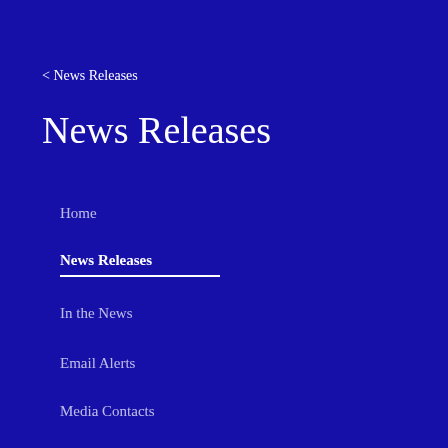< News Releases
News Releases
Home
News Releases
In the News
Email Alerts
Media Contacts
Corporate Newsroom
Digital Assets